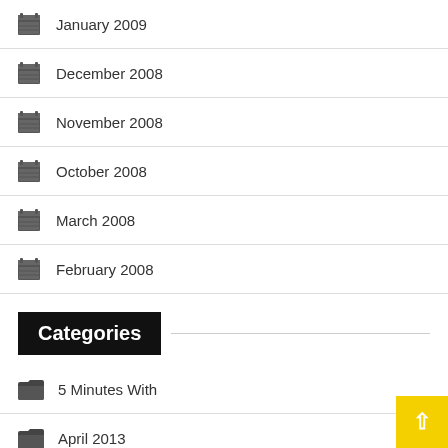January 2009
December 2008
November 2008
October 2008
March 2008
February 2008
Categories
5 Minutes With
April 2013
Armed Forces